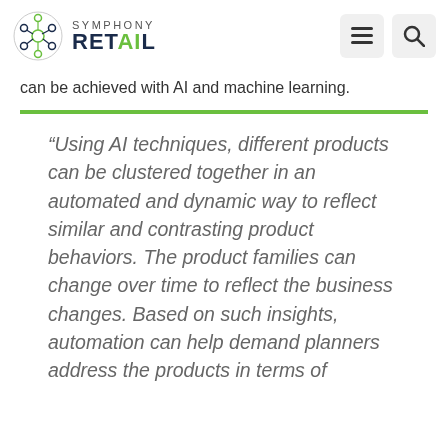SYMPHONY RETAIL
can be achieved with AI and machine learning.
“Using AI techniques, different products can be clustered together in an automated and dynamic way to reflect similar and contrasting product behaviors. The product families can change over time to reflect the business changes. Based on such insights, automation can help demand planners address the products in terms of